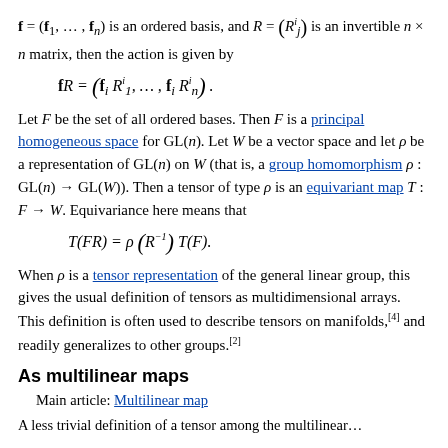f = (f_1, ..., f_n) is an ordered basis, and R = (R^i_j) is an invertible n × n matrix, then the action is given by
Let F be the set of all ordered bases. Then F is a principal homogeneous space for GL(n). Let W be a vector space and let ρ be a representation of GL(n) on W (that is, a group homomorphism ρ : GL(n) → GL(W)). Then a tensor of type ρ is an equivariant map T : F → W. Equivariance here means that
When ρ is a tensor representation of the general linear group, this gives the usual definition of tensors as multidimensional arrays. This definition is often used to describe tensors on manifolds,[4] and readily generalizes to other groups.[2]
As multilinear maps
Main article: Multilinear map
A less trivial definition of a tensor among the multilinear...